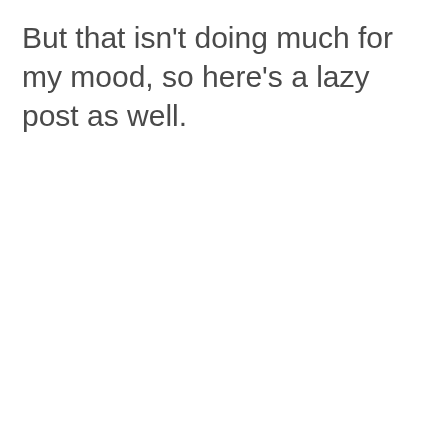But that isn't doing much for my mood, so here's a lazy post as well.